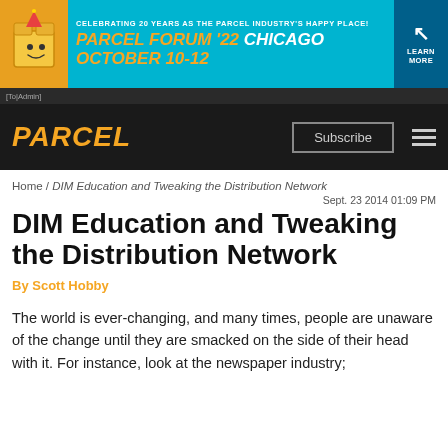[Figure (other): Parcel Forum '22 Chicago October 10-12 advertisement banner. Celebrating 20 years as the parcel industry's happy place. Learn More button.]
[To|Admin]
PARCEL | Subscribe | menu
Home / DIM Education and Tweaking the Distribution Network
Sept. 23 2014 01:09 PM
DIM Education and Tweaking the Distribution Network
By Scott Hobby
The world is ever-changing, and many times, people are unaware of the change until they are smacked on the side of their head with it. For instance, look at the newspaper industry;